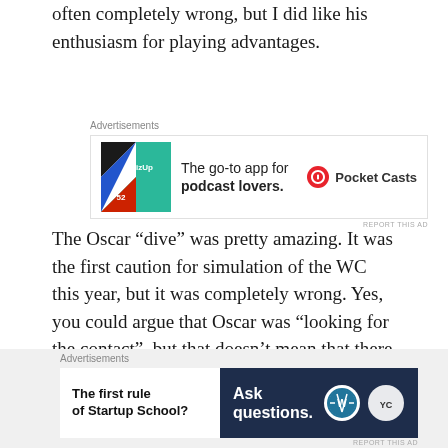often completely wrong, but I did like his enthusiasm for playing advantages.
[Figure (other): Pocket Casts advertisement: 'The go-to app for podcast lovers.' with colorful app icon and Pocket Casts logo]
The Oscar “dive” was pretty amazing. It was the first caution for simulation of the WC this year, but it was completely wrong. Yes, you could argue that Oscar was “looking for the contact”, but that doesn’t mean that there was no foul!
Anyway, in all a disappointing climax to Hamoudi
[Figure (other): WordPress/Startup School advertisement: 'The first rule of Startup School? Ask questions.' with WordPress and partner logos]